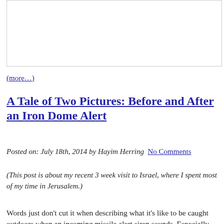[Figure (other): White/blank image box with border]
(more…)
A Tale of Two Pictures: Before and After an Iron Dome Alert
Posted on: July 18th, 2014 by Hayim Herring No Comments
(This post is about my recent 3 week visit to Israel, where I spent most of my time in Jerusalem.)
Words just don't cut it when describing what it's like to be caught outdoors when an incoming missile alert siren sounds. Especially